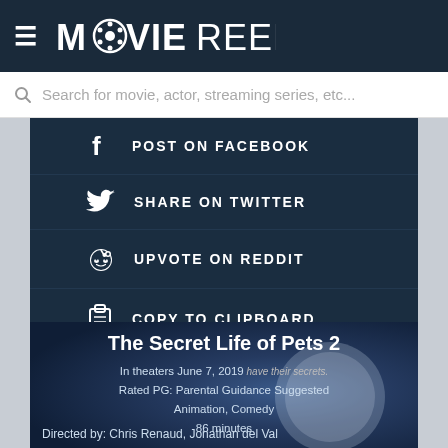MOVIEREELIST
Search for movie, actor, streaming series, etc...
POST ON FACEBOOK
SHARE ON TWITTER
UPVOTE ON REDDIT
COPY TO CLIPBOARD
The Secret Life of Pets 2
In theaters June 7, 2019
Rated PG: Parental Guidance Suggested
Animation, Comedy
86 minutes
Directed by: Chris Renaud, Jonathan del Val